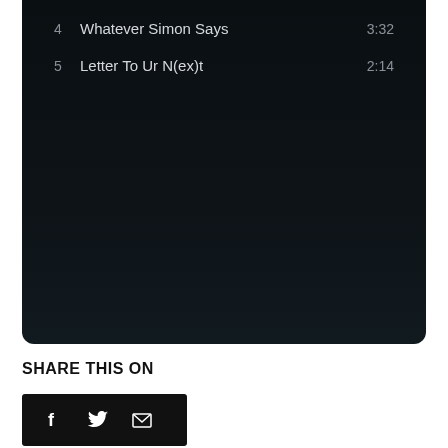[Figure (screenshot): Dark music player panel showing track list entries: track 4 'Whatever Simon Says' 3:32, track 5 'Letter To Ur N(ex)t' 2:14]
SHARE THIS ON
[Figure (infographic): Black share buttons bar with Facebook, Twitter, and Email icons]
RELATED POSTS